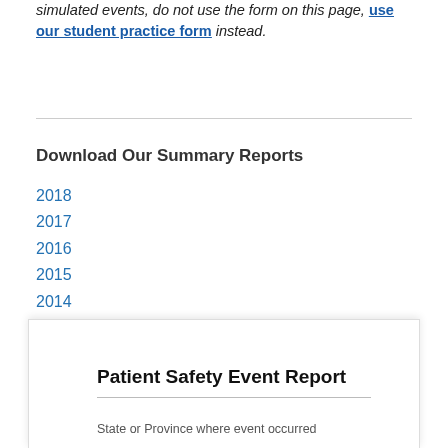simulated events, do not use the form on this page, use our student practice form instead.
Download Our Summary Reports
2018
2017
2016
2015
2014
2013
2012
[Figure (logo): CLIR logo with vertical bar]
Patient Safety Event Report
State or Province where event occurred